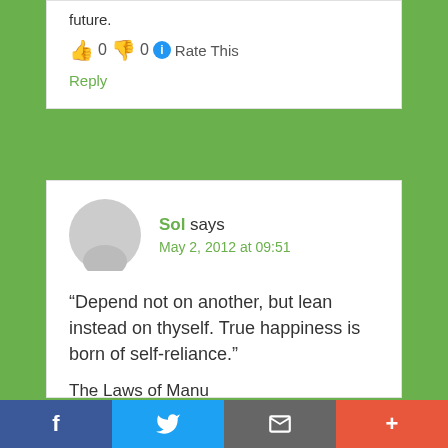future.
👍 0 👎 0 ℹ Rate This
Reply
Sol says
May 2, 2012 at 09:51
“Depend not on another, but lean instead on thyself. True happiness is born of self-reliance.”

The Laws of Manu
f  [Twitter]  [Email]  +